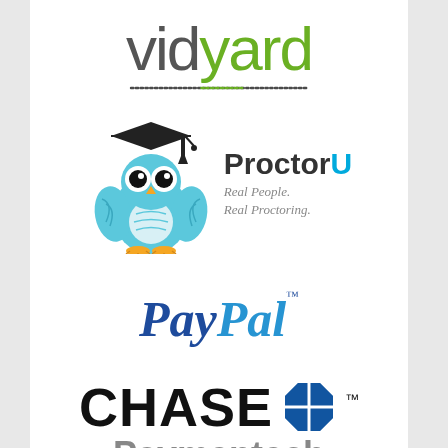[Figure (logo): Vidyard logo: 'vid' in dark grey and 'yard' in green, lowercase sans-serif, with a dotted underline]
[Figure (logo): ProctorU logo: a blue owl mascot with a graduation cap, and text 'ProctorU' with tagline 'Real People. Real Proctoring.']
[Figure (logo): PayPal logo in blue italic bold font with trademark symbol]
[Figure (logo): Chase Paymentech logo: 'CHASE' in black bold with blue octagon Chase logo and trademark symbol, 'Paymentech' in grey below]